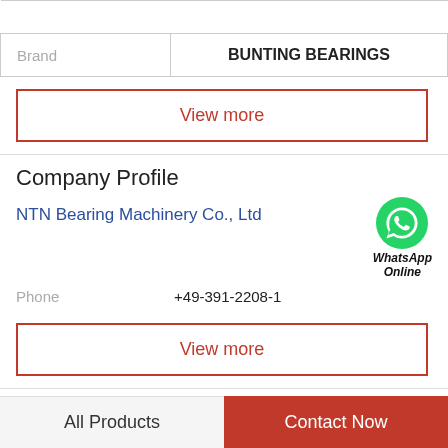| Brand | BUNTING BEARINGS |
| --- | --- |
| Brand | BUNTING BEARINGS |
View more
Company Profile
NTN Bearing Machinery Co., Ltd
[Figure (logo): WhatsApp green phone icon with label WhatsApp Online]
Phone  +49-391-2208-1
View more
Related News
All Products   Contact Now